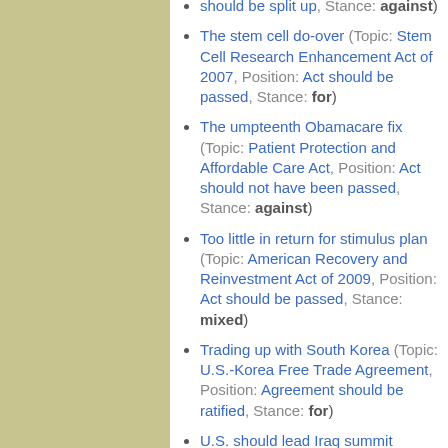should be split up, Stance: against)
The stem cell do-over (Topic: Stem Cell Research Enhancement Act of 2007, Position: Act should be passed, Stance: for)
The umpteenth Obamacare fix (Topic: Patient Protection and Affordable Care Act, Position: Act should not have been passed, Stance: against)
Too little in return for stimulus plan (Topic: American Recovery and Reinvestment Act of 2009, Position: Act should be passed, Stance: mixed)
Trading up with South Korea (Topic: U.S.-Korea Free Trade Agreement, Position: Agreement should be ratified, Stance: for)
U.S. should lead Iraq summit (Topic: